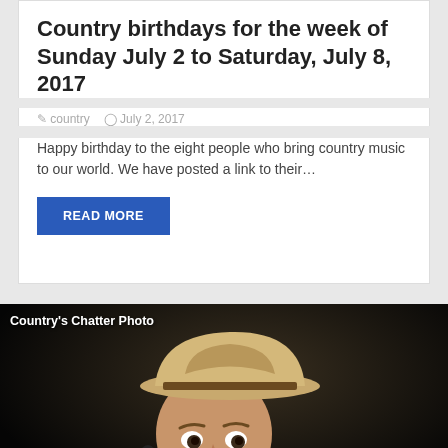Country birthdays for the week of Sunday July 2 to Saturday, July 8, 2017
country   July 2, 2017
Happy birthday to the eight people who bring country music to our world. We have posted a link to their…
READ MORE
[Figure (photo): Country music performer wearing a cowboy hat, smiling, with a microphone visible. Watermark reads "Country's Chatter Photo".]